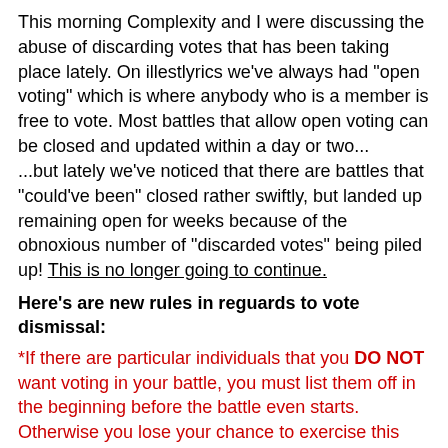This morning Complexity and I were discussing the abuse of discarding votes that has been taking place lately. On illestlyrics we've always had "open voting" which is where anybody who is a member is free to vote. Most battles that allow open voting can be closed and updated within a day or two... ...but lately we've noticed that there are battles that "could've been" closed rather swiftly, but landed up remaining open for weeks because of the obnoxious number of "discarded votes" being piled up! This is no longer going to continue.
Here's are new rules in reguards to vote dismissal:
*If there are particular individuals that you DO NOT want voting in your battle, you must list them off in the beginning before the battle even starts. Otherwise you lose your chance to exercise this right. Names can NOT be added to the list after the battle has already begun. So any vote casted will be permenant and remain.
*If you have OVER 10 Wins on your record...you are only allowed to discard up to 1 vote per battle. AND ONLY 1 VOTE. Any other attempts to discard votes after you've already dismissed one, will be ignored, and those votes will stand